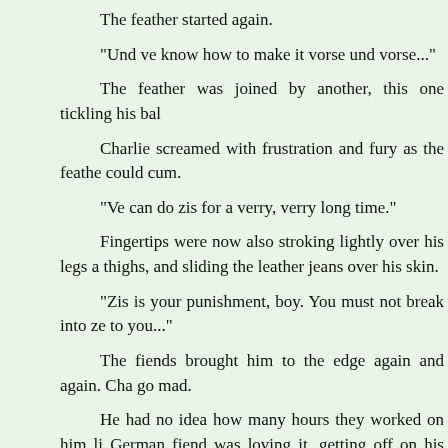The feather started again.
“Und ve know how to make it vorse und vorse...”
The feather was joined by another, this one tickling his bal…
Charlie screamed with frustration and fury as the feathe… could cum.
“Ve can do zis for a verry, verry long time.”
Fingertips were now also stroking lightly over his legs a… thighs, and sliding the leather jeans over his skin.
“Zis is your punishment, boy. You must not break into ze… to you...”
The fiends brought him to the edge again and again. Cha… go mad.
He had no idea how many hours they worked on him li… German fiend was loving it, getting off on his suffering. H… musical instrument – taken from the heights of intense sexu… unendurably acute frustration. Every time, he vowed that… respond, not give these bastards the pleasure of seeing him… had no say in the matter; his cock was controlling him…